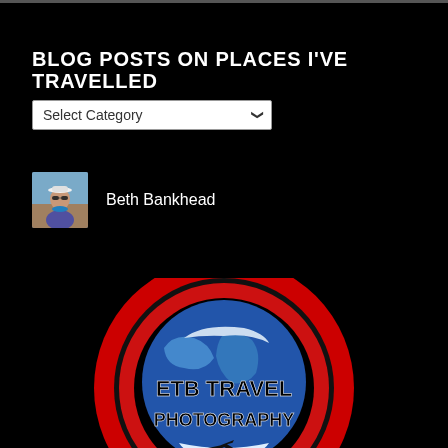BLOG POSTS ON PLACES I'VE TRAVELLED
Select Category
Beth Bankhead
[Figure (logo): ETB Travel Photography logo — a circular red ring surrounding a globe with text 'ETB TRAVEL PHOTOGRAPHY' overlaid, with a small airplane silhouette at the bottom.]